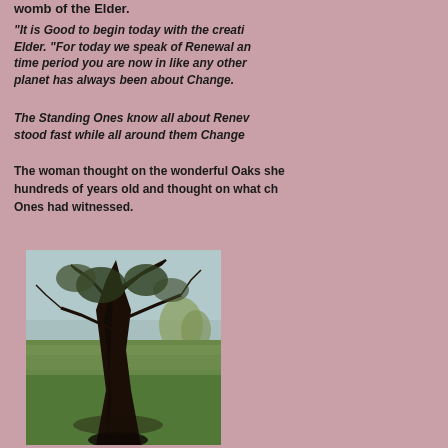womb of the Elder.
"It is Good to begin today with the creation of Elder. "For today we speak of Renewal and the time period you are now in like any other, this planet has always been about Change.
The Standing Ones know all about Renewal. They stood fast while all around them Change...
The woman thought on the wonderful Oaks she knew, hundreds of years old and thought on what changes those Ones had witnessed.
[Figure (photo): Photograph of an ancient, gnarled oak tree with thick dark trunk and twisted branches set in a green meadow landscape under an overcast sky]